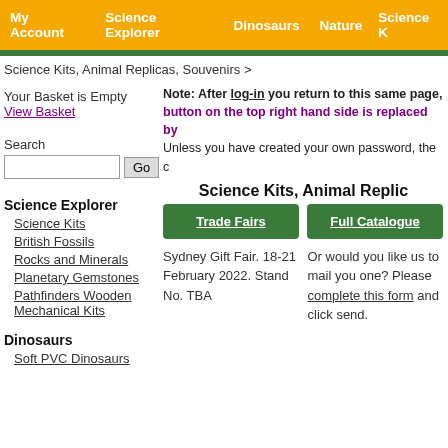My Account | Science Explorer | Dinosaurs | Nature | Science K...
Science Kits, Animal Replicas, Souvenirs >
Your Basket is Empty
View Basket
Note: After log-in you return to this same page, button on the top right hand side is replaced by
Unless you have created your own password, the c...
Science Kits, Animal Replic...
[Figure (screenshot): Two green buttons: Trade Fairs and Full Catalogue]
Sydney Gift Fair. 18-21 February 2022. Stand No. TBA
Or would you like us to mail you one? Please complete this form and click send.
Science Explorer
Science Kits
British Fossils
Rocks and Minerals
Planetary Gemstones
Pathfinders Wooden Mechanical Kits
Dinosaurs
Soft PVC Dinosaurs